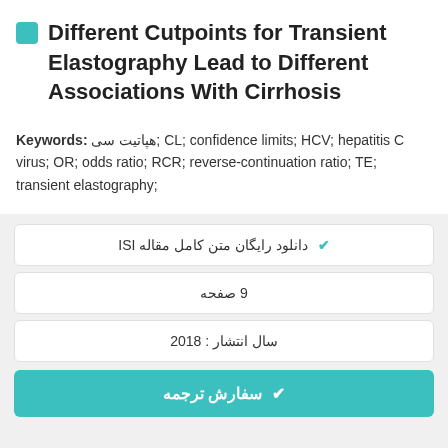Different Cutpoints for Transient Elastography Lead to Different Associations With Cirrhosis
Keywords: هپاتیت سی; CL; confidence limits; HCV; hepatitis C virus; OR; odds ratio; RCR; reverse-continuation ratio; TE; transient elastography;
✔ دانلود رایگان متن کامل مقاله ISI
9 صفحه
سال انتشار : 2018
✔ سفارش ترجمه